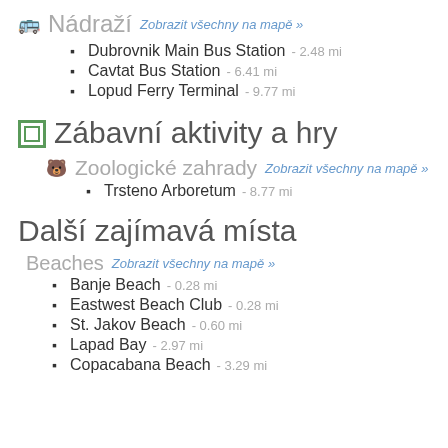Nádraží   Zobrazit všechny na mapě »
Dubrovnik Main Bus Station  - 2.48 mi
Cavtat Bus Station  - 6.41 mi
Lopud Ferry Terminal  - 9.77 mi
Zábavní aktivity a hry
Zoologické zahrady   Zobrazit všechny na mapě »
Trsteno Arboretum  - 8.77 mi
Další zajímavá místa
Beaches   Zobrazit všechny na mapě »
Banje Beach  - 0.28 mi
Eastwest Beach Club  - 0.28 mi
St. Jakov Beach  - 0.60 mi
Lapad Bay  - 2.97 mi
Copacabana Beach  - 3.29 mi